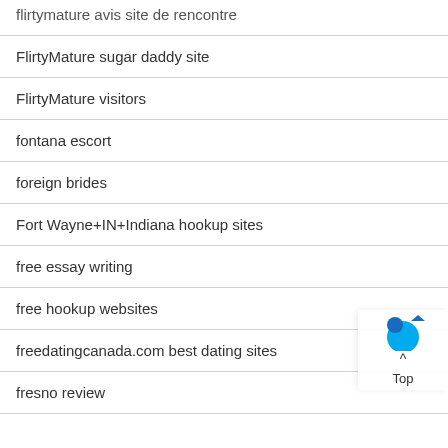flirtymature avis site de rencontre
FlirtyMature sugar daddy site
FlirtyMature visitors
fontana escort
foreign brides
Fort Wayne+IN+Indiana hookup sites
free essay writing
free hookup websites
freedatingcanada.com best dating sites
fresno review